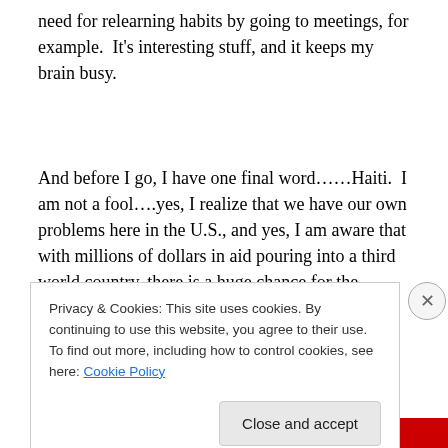need for relearning habits by going to meetings, for example.  It's interesting stuff, and it keeps my brain busy.
And before I go, I have one final word……Haiti.  I am not a fool….yes, I realize that we have our own problems here in the U.S., and yes, I am aware that with millions of dollars in aid pouring into a third world country, there is a huge chance for the mismanagement of some of it.  Those
Privacy & Cookies: This site uses cookies. By continuing to use this website, you agree to their use.
To find out more, including how to control cookies, see here: Cookie Policy